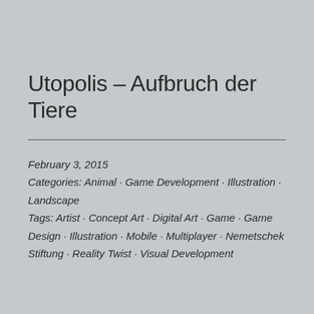Utopolis – Aufbruch der Tiere
February 3, 2015
Categories: Animal · Game Development · Illustration · Landscape
Tags: Artist · Concept Art · Digital Art · Game · Game Design · Illustration · Mobile · Multiplayer · Nemetschek Stiftung · Reality Twist · Visual Development